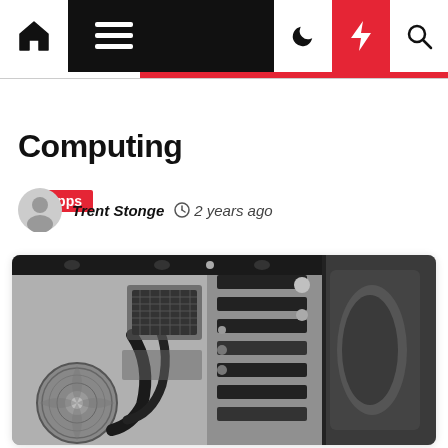Apps
Computing
Trent Stonge  ⊙ 2 years ago
[Figure (photo): Black and white photograph of the interior of a desktop computer tower case, showing components, cables, fans, and drive bays, with the exterior of the case visible on the right side.]